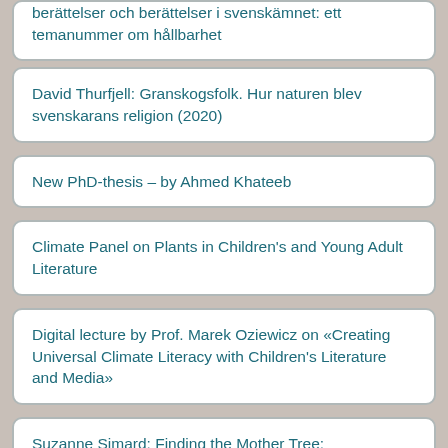berättelser och berättelser i svenskämnet: ett temanummer om hållbarhet
David Thurfjell: Granskogsfolk. Hur naturen blev svenskarans religion (2020)
New PhD-thesis – by Ahmed Khateeb
Climate Panel on Plants in Children's and Young Adult Literature
Digital lecture by Prof. Marek Oziewicz on «Creating Universal Climate Literacy with Children's Literature and Media»
Suzanne Simard: Finding the Mother Tree: